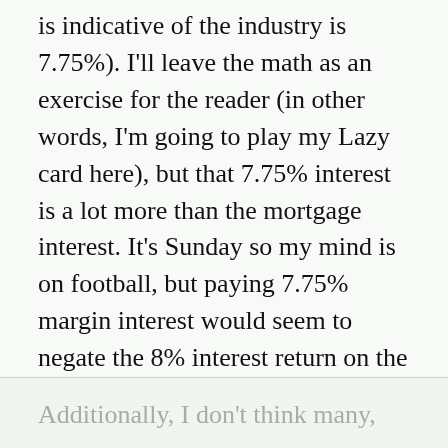is indicative of the industry is 7.75%). I'll leave the math as an exercise for the reader (in other words, I'm going to play my Lazy card here), but that 7.75% interest is a lot more than the mortgage interest. It's Sunday so my mind is on football, but paying 7.75% margin interest would seem to negate the 8% interest return on the REIT almost entirely.
Additionally, I don't think many,